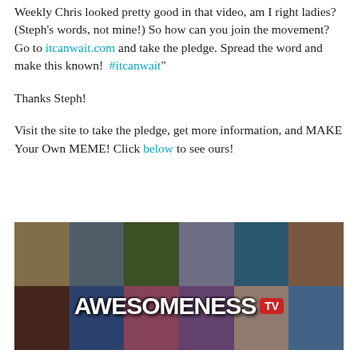Weekly Chris looked pretty good in that video, am I right ladies? (Steph's words, not mine!) So how can you join the movement? Go to itcanwait.com and take the pledge. Spread the word and make this known!  #itcanwait"
Thanks Steph!
Visit the site to take the pledge, get more information, and MAKE Your Own MEME! Click below to see ours!
[Figure (photo): AwesomenessTV banner image showing a collage of young people/YouTubers with the AwesomenessTV logo overlaid]